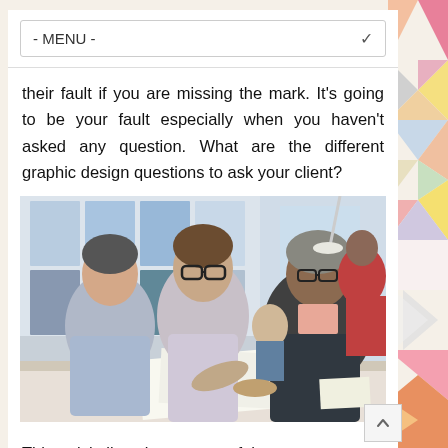- MENU -
their fault if you are missing the mark. It's going to be your fault especially when you haven't asked any question. What are the different graphic design questions to ask your client?
[Figure (photo): Three men sitting around a table in a design studio having a meeting. Papers and design boards visible in background. The central man with glasses appears to be presenting or explaining something.]
This article lists down some of them: